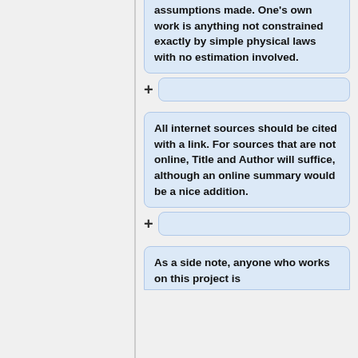assumptions made. One's own work is anything not constrained exactly by simple physical laws with no estimation involved.
All internet sources should be cited with a link. For sources that are not online, Title and Author will suffice, although an online summary would be a nice addition.
As a side note, anyone who works on this project is